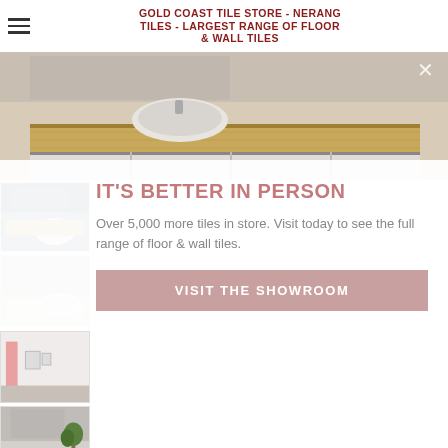GOLD COAST TILE STORE - NERANG TILES - LARGEST RANGE OF FLOOR & WALL TILES
[Figure (photo): Hero image of a modern bathroom vanity with wooden countertop and round basin]
[Figure (photo): Thumbnail 1: bathroom with round white freestanding bathtub and dark wall tiles]
[Figure (photo): Thumbnail 2: bright bathroom with freestanding bathtub]
[Figure (photo): Thumbnail 3: bathroom with pink towel and wall decor]
[Figure (photo): Thumbnail 4: bathroom vanity with mirror and green plant]
IT'S BETTER IN PERSON
Over 5,000 more tiles in store. Visit today to see the full range of floor & wall tiles.
VISIT THE SHOWROOM